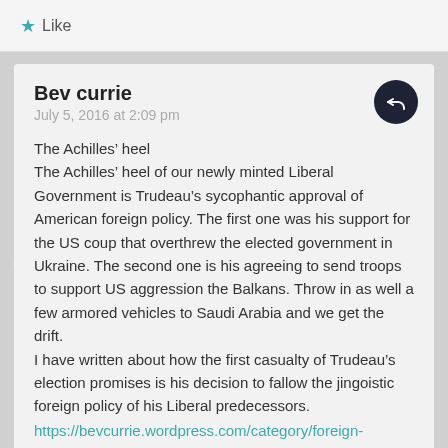Like
Bev currie
July 5, 2016 at 2:09 pm
The Achilles’ heel
The Achilles’ heel of our newly minted Liberal Government is Trudeau’s sycophantic approval of American foreign policy. The first one was his support for the US coup that overthrew the elected government in Ukraine. The second one is his agreeing to send troops to support US aggression the Balkans. Throw in as well a few armored vehicles to Saudi Arabia and we get the drift.
I have written about how the first casualty of Trudeau’s election promises is his decision to fallow the jingoistic foreign policy of his Liberal predecessors.
https://bevcurrie.wordpress.com/category/foreign-